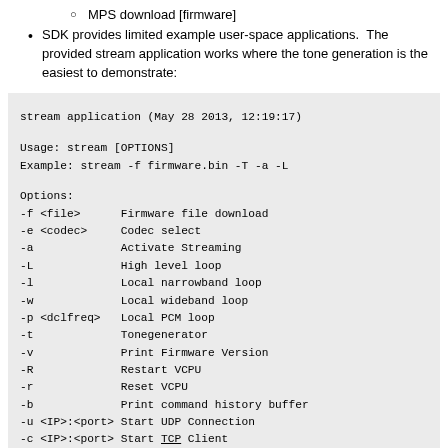MPS download [firmware]
SDK provides limited example user-space applications.  The provided stream application works where the tone generation is the easiest to demonstrate:
stream application (May 28 2013, 12:19:17)

Usage: stream [OPTIONS]
Example: stream -f firmware.bin -T -a -L

Options:
-f <file>      Firmware file download
-e <codec>     Codec select
-a             Activate Streaming
-L             High level loop
-l             Local narrowband loop
-w             Local wideband loop
-p <dclfreq>   Local PCM loop
-t             Tonegenerator
-v             Print Firmware Version
-R             Restart VCPU
-r             Reset VCPU
-b             Print command history buffer
-u <IP>:<port> Start UDP Connection
-c <IP>:<port> Start TCP Client
-s <IP>:<port> Start TCP Server